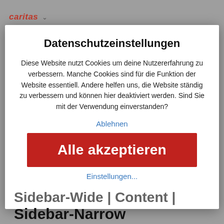caritas ▾
Datenschutzeinstellungen
Diese Website nutzt Cookies um deine Nutzererfahrung zu verbessern. Manche Cookies sind für die Funktion der Website essentiell. Andere helfen uns, die Website ständig zu verbessern und können hier deaktiviert werden. Sind Sie mit der Verwendung einverstanden?
Ablehnen
Alle akzeptieren
Einstellungen...
Sidebar-Wide | Content | Sidebar-Narrow